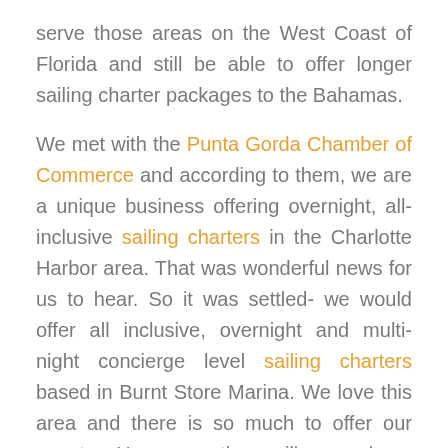serve those areas on the West Coast of Florida and still be able to offer longer sailing charter packages to the Bahamas.

We met with the Punta Gorda Chamber of Commerce and according to them, we are a unique business offering overnight, all-inclusive sailing charters in the Charlotte Harbor area. That was wonderful news for us to hear. So it was settled- we would offer all inclusive, overnight and multi-night concierge level sailing charters based in Burnt Store Marina. We love this area and there is so much to offer our guests. Here are the sailing package options you have to choose from: